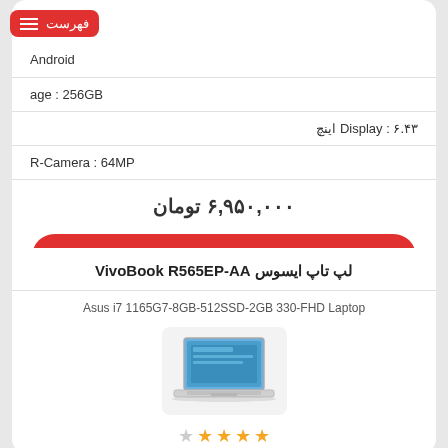فهرست (menu/navigation bar)
Android
age : 256GB
Display : ۶.۴۳ اینچ
R-Camera : 64MP
۶,۹۵۰,۰۰۰ تومان
مشاهده و خرید
لپ تاپ ایسوس VivoBook R565EP-AA
Asus i7 1165G7-8GB-512SSD-2GB 330-FHD Laptop
[Figure (photo): Asus VivoBook laptop product image shown in a light gray box]
★★★★☆ (4 out of 5 stars rating)